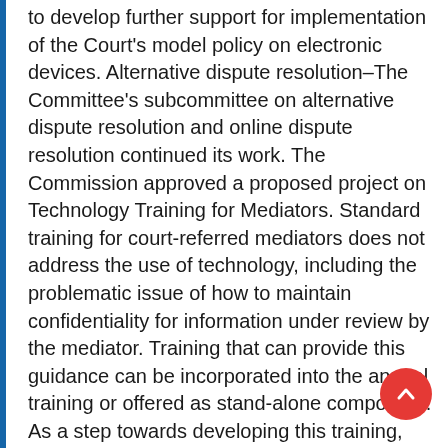to develop further support for implementation of the Court's model policy on electronic devices. Alternative dispute resolution–The Committee's subcommittee on alternative dispute resolution and online dispute resolution continued its work. The Commission approved a proposed project on Technology Training for Mediators. Standard training for court-referred mediators does not address the use of technology, including the problematic issue of how to maintain confidentiality for information under review by the mediator. Training that can provide this guidance can be incorporated into the annual training or offered as stand-alone component. As a step towards developing this training, the subcommittee surveyed Court-certified mediators regarding their knowledge of and interest in certain technology applications having the potential to support their work.